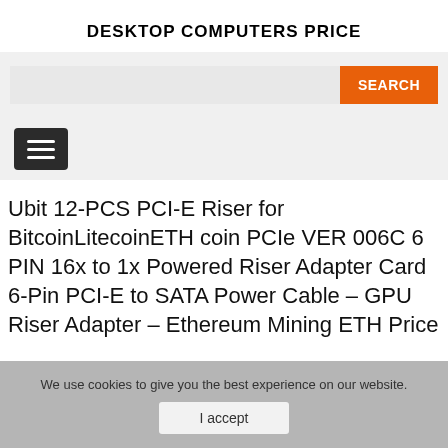DESKTOP COMPUTERS PRICE
[Figure (screenshot): Search bar with orange SEARCH button on grey background]
[Figure (screenshot): Dark hamburger menu button on grey navigation bar]
Ubit 12-PCS PCI-E Riser for BitcoinLitecoinETH coin PCIe VER 006C 6 PIN 16x to 1x Powered Riser Adapter Card 6-Pin PCI-E to SATA Power Cable – GPU Riser Adapter – Ethereum Mining ETH Price
We use cookies to give you the best experience on our website.
I accept